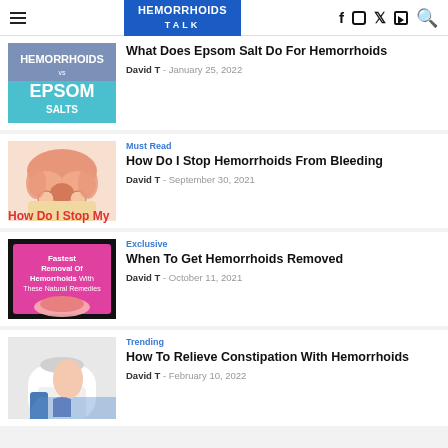HEMORRHOIDS TALK — navigation header with social icons
[Figure (photo): Thumbnail image of Hemorrhoids vs Epsom Salts text on colorful background]
What Does Epsom Salt Do For Hemorrhoids
David T  -  January 25, 2022
Must Read
[Figure (illustration): Medical illustration of hemorrhoids anatomy]
How Do I Stop Hemorrhoids From Bleeding
David T  -  September 30, 2021
How Do I Stop My
Exclusive
[Figure (photo): Pink infographic about Fastest Removal Of Hemorrhoids With These Natural Remedies]
When To Get Hemorrhoids Removed
David T  -  October 11, 2021
Trending
[Figure (photo): Person sitting on toilet, lower body visible]
How To Relieve Constipation With Hemorrhoids
David T  -  February 10, 2022